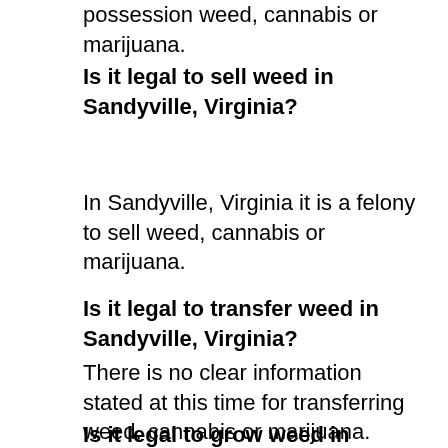possession weed, cannabis or marijuana.
Is it legal to sell weed in Sandyville, Virginia?
In Sandyville, Virginia it is a felony to sell weed, cannabis or marijuana.
Is it legal to transfer weed in Sandyville, Virginia?
There is no clear information stated at this time for transferring weed, cannabis or marijuana.
Is it legal to grow weed in Sandyville,